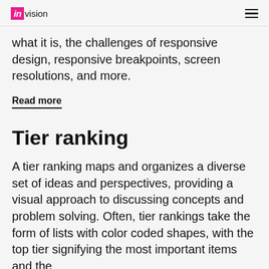in vision
what it is, the challenges of responsive design, responsive breakpoints, screen resolutions, and more.
Read more
Tier ranking
A tier ranking maps and organizes a diverse set of ideas and perspectives, providing a visual approach to discussing concepts and problem solving. Often, tier rankings take the form of lists with color coded shapes, with the top tier signifying the most important items and the